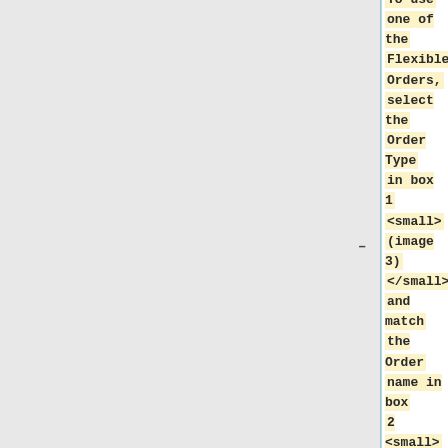To use one of the Flexible Orders, select the Order Type in box 1 <small>(image 3)</small> </small> and match the Order name in box 2 <small>(image 3)</small> </small> with the Season Type in {{kodi}} <small>(image 2)</small> </small>.